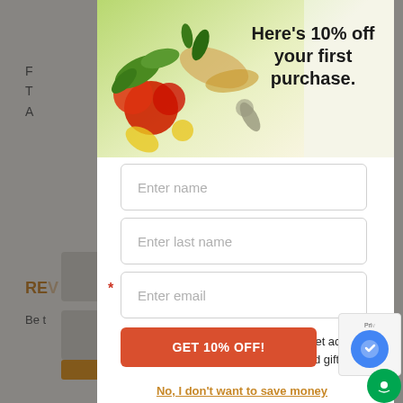Here’s 10% off your first purchase.
Enter name
Enter last name
Enter email
You’ll also join the Alma Family and get access to exclusives discounts, offers, and gifts.
GET 10% OFF!
No, I don’t want to save money